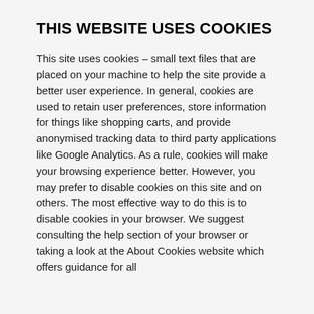THIS WEBSITE USES COOKIES
This site uses cookies – small text files that are placed on your machine to help the site provide a better user experience. In general, cookies are used to retain user preferences, store information for things like shopping carts, and provide anonymised tracking data to third party applications like Google Analytics. As a rule, cookies will make your browsing experience better. However, you may prefer to disable cookies on this site and on others. The most effective way to do this is to disable cookies in your browser. We suggest consulting the help section of your browser or taking a look at the About Cookies website which offers guidance for all